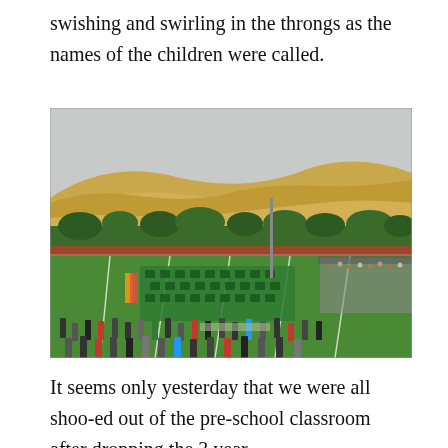swishing and swirling in the throngs as the names of the children were called.
[Figure (photo): Aerial/elevated view of an outdoor graduation ceremony on a sports field. Graduates in green gowns and caps are seated in rows on the green turf. Spectators stand and sit around the perimeter. Rolling golden hills and green trees are visible in the background under an overcast sky.]
It seems only yesterday that we were all shoo-ed out of the pre-school classroom after dropping the 3 year